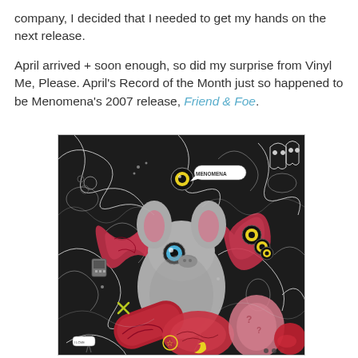company, I decided that I needed to get my hands on the next release.

April arrived + soon enough, so did my surprise from Vinyl Me, Please. April's Record of the Month just so happened to be Menomena's 2007 release, Friend & Foe.
[Figure (illustration): Album cover art for Menomena's Friend & Foe (2007). Dense black and white illustration with colorful accents (red/pink, yellow, cyan) featuring surreal cartoon creatures, a large grey bear-like character in the center, ghost shapes, eyes, and various abstract doodle elements. The word MENOMENA appears in a speech bubble near the top.]